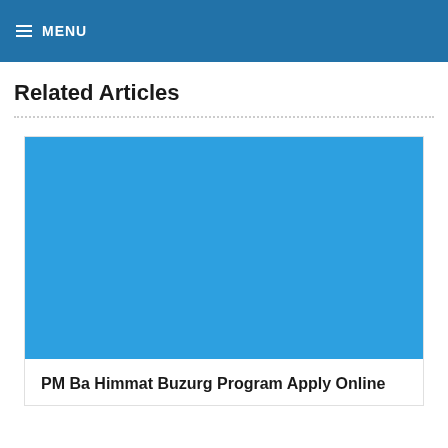MENU
Related Articles
[Figure (photo): Blue placeholder image for article thumbnail]
PM Ba Himmat Buzurg Program Apply Online